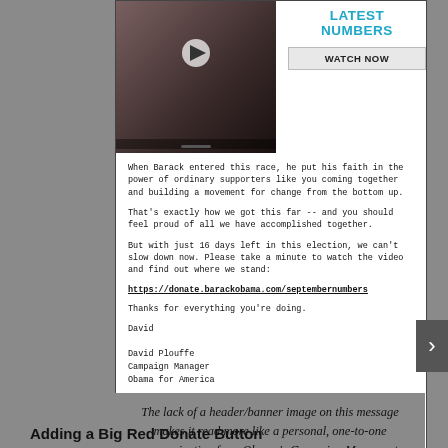[Figure (screenshot): Email screenshot showing Obama campaign video thumbnail with 'LATEST NUMBERS' heading and 'WATCH NOW' button on the right side]
When Barack entered this race, he put his faith in the power of ordinary supporters like you coming together and building a movement for change from the bottom up.
That's exactly how we got this far -- and you should feel proud of all we have accomplished together.
But with just 16 days left in this election, we can't slow down now. Please take a minute to watch the video and find out where we stand:
https://donate.barackobama.com/septembernumbers
Thanks for everything you're doing.
David

David Plouffe
Campaign Manager
Obama for America
[Figure (screenshot): Red DONATE button]
The lack of a header/banner image on this message makes it read more like a personal, one-to-one communication from Obama's Campaign Manager to the recipient.
Adding a Big Red Donate Button